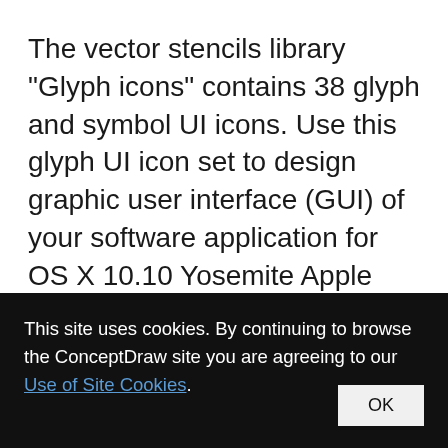The vector stencils library "Glyph icons" contains 38 glyph and symbol UI icons. Use this glyph UI icon set to design graphic user interface (GUI) of your software application for OS X 10.10 Yosemite Apple Mac operating system. The example "Glyph icons - Vector stencils library" was created using the ConceptDraw PRO diagramming and vector drawing
This site uses cookies. By continuing to browse the ConceptDraw site you are agreeing to our Use of Site Cookies. OK